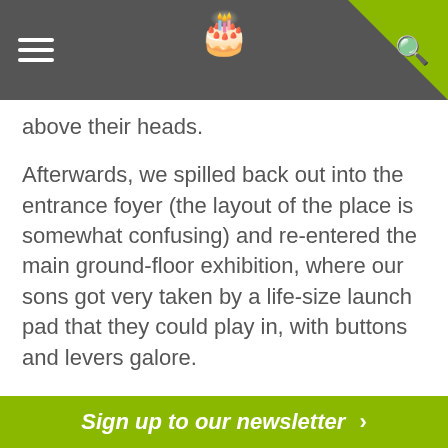Navigation bar with hamburger menu, cake logo, and search icon
above their heads.
Afterwards, we spilled back out into the entrance foyer (the layout of the place is somewhat confusing) and re-entered the main ground-floor exhibition, where our sons got very taken by a life-size launch pad that they could play in, with buttons and levers galore.
‘I’m a real space man!’ shouted Ripley over and over, and we couldn’t tear him away.
For our eldest, Ethan, the highlight came just as we were leaving, when over the tannoy came
Sign up to our newsletter >